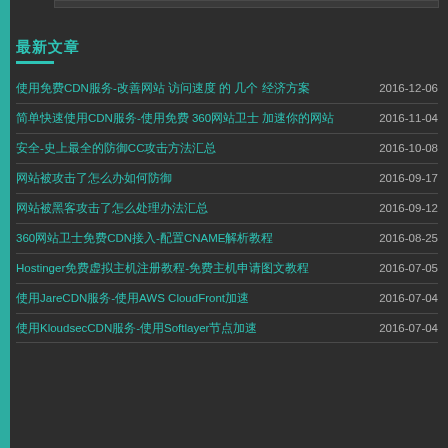最新文章
使用免费CDN服务-改善网站 访问速度 的 几个 经济方案 2016-12-06
简单快速使用CDN服务-使用免费 360网站卫士 加速你的网站 2016-11-04
安全-史上最全的防御CC攻击方法汇总 2016-10-08
网站被攻击了怎么办如何防御 2016-09-17
网站被黑客攻击了怎么处理办法汇总 2016-09-12
360网站卫士免费CDN接入-配置CNAME解析教程 2016-08-25
Hostinger免费虚拟主机注册教程-免费主机申请图文教程 2016-07-05
使用JareCDN服务-使用AWS CloudFront加速 2016-07-04
使用KloudsecCDN服务-使用Softlayer节点加速 2016-07-04